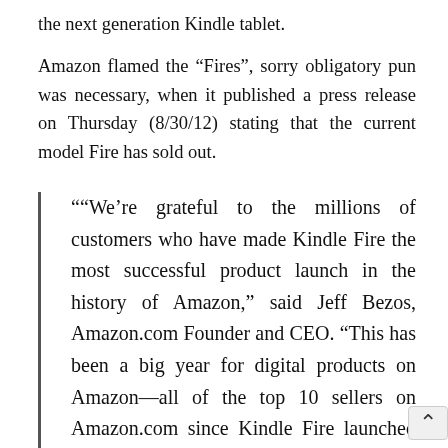the next generation Kindle tablet.
Amazon flamed the “Fires”, sorry obligatory pun was necessary, when it published a press release on Thursday (8/30/12) stating that the current model Fire has sold out.
““We’re grateful to the millions of customers who have made Kindle Fire the most successful product launch in the history of Amazon,” said Jeff Bezos, Amazon.com Founder and CEO. “This has been a big year for digital products on Amazon—all of the top 10 sellers on Amazon.com since Kindle Fire launched just less than a year